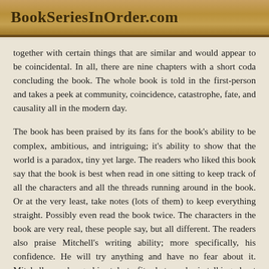BookSeriesInOrder.com
together with certain things that are similar and would appear to be coincidental. In all, there are nine chapters with a short coda concluding the book. The whole book is told in the first-person and takes a peek at community, coincidence, catastrophe, fate, and causality all in the modern day.
The book has been praised by its fans for the book's ability to be complex, ambitious, and intriguing; it's ability to show that the world is a paradox, tiny yet large. The readers who liked this book say that the book is best when read in one sitting to keep track of all the characters and all the threads running around in the book. Or at the very least, take notes (lots of them) to keep everything straight. Possibly even read the book twice. The characters in the book are very real, these people say, but all different. The readers also praise Mitchell's writing ability; more specifically, his confidence. He will try anything and have no fear about it. Mitchell can change his style to fit whatever he is talking about and can describe anything in any way